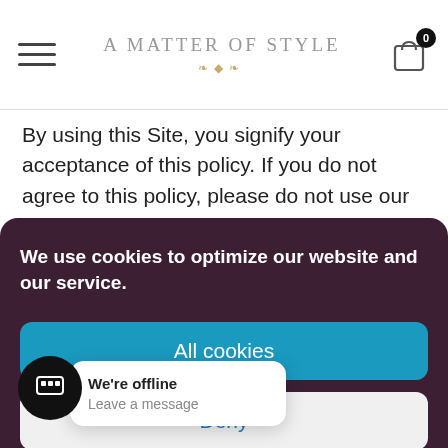A Matter of Style
By using this Site, you signify your acceptance of this policy. If you do not agree to this policy, please do not use our Site. Your continued use of the Site following the
We use cookies to optimize our website and our service.
All cookies
Deny
View preferences
We're offline
Leave a message